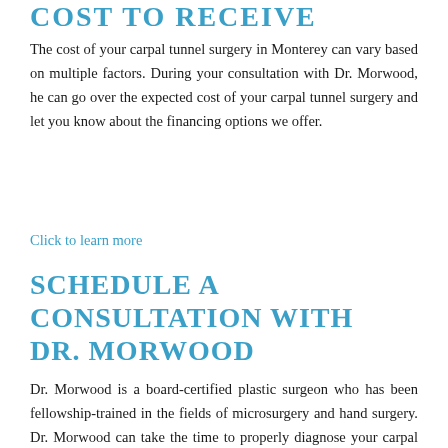COST TO RECEIVE
The cost of your carpal tunnel surgery in Monterey can vary based on multiple factors. During your consultation with Dr. Morwood, he can go over the expected cost of your carpal tunnel surgery and let you know about the financing options we offer.
Click to learn more
SCHEDULE A CONSULTATION WITH DR. MORWOOD
Dr. Morwood is a board-certified plastic surgeon who has been fellowship-trained in the fields of microsurgery and hand surgery. Dr. Morwood can take the time to properly diagnose your carpal tunnel in order to determine the best course of action for your treatment. Contact our office today to schedule a consultation.